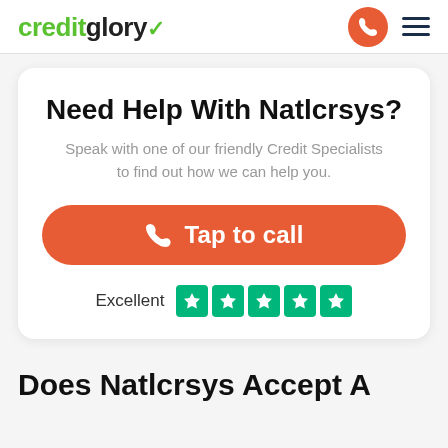[Figure (logo): Credit Glory logo with green checkmark]
Need Help With Natlcrsys?
Speak with one of our friendly Credit Specialists to find out how we can help you.
Tap to call
Excellent ★★★★★
Does Natlcrsys Accept A